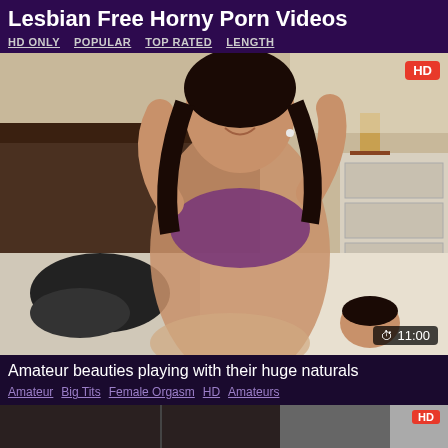Lesbian Free Horny Porn Videos
HD ONLY   POPULAR   TOP RATED   LENGTH
[Figure (photo): Video thumbnail showing bedroom scene with HD badge and 11:00 duration indicator]
Amateur beauties playing with their huge naturals
Amateur  Big Tits  Female Orgasm  HD  Amateurs
[Figure (photo): Partial thumbnail of another video with HD badge visible]